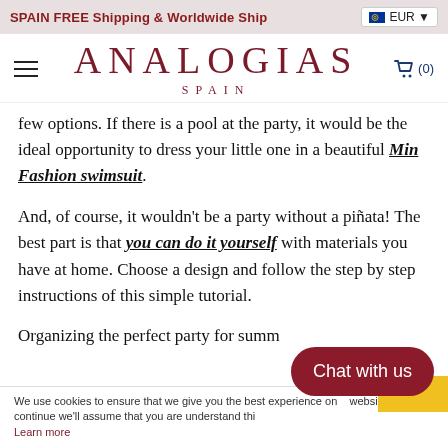SPAIN FREE Shipping & Worldwide Ship | EUR
ANALOGIAS SPAIN
few options. If there is a pool at the party, it would be the ideal opportunity to dress your little one in a beautiful Min Fashion swimsuit.
And, of course, it wouldn't be a party without a piñata! The best part is that you can do it yourself with materials you have at home. Choose a design and follow the step by step instructions of this simple tutorial.
Organizing the perfect party for summ... very
We use cookies to ensure that we give you the best experience on our website. If you continue we'll assume that you are understand this.
Learn more